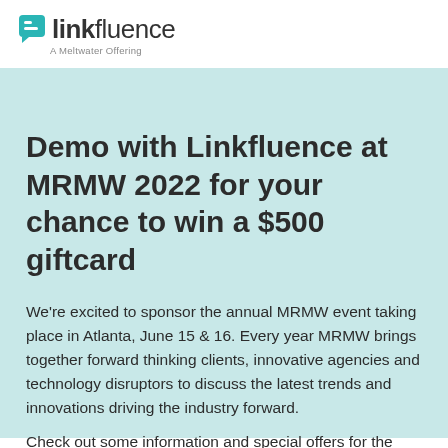[Figure (logo): Linkfluence logo with teal speech bubble icon, text 'linkfluence' and subtitle 'A Meltwater Offering']
Demo with Linkfluence at MRMW 2022 for your chance to win a $500 giftcard
We're excited to sponsor the annual MRMW event taking place in Atlanta, June 15 & 16. Every year MRMW brings together forward thinking clients, innovative agencies and technology disruptors to discuss the latest trends and innovations driving the industry forward.
Check out some information and special offers for the event: